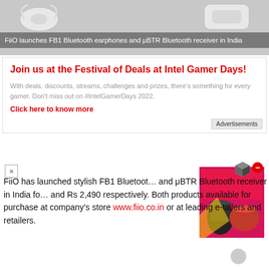[Figure (photo): Product images of FiiO FB1 Bluetooth earphones and μBTR Bluetooth receiver on grey background]
FiiO launches FB1 Bluetooth earphones and μBTR Bluetooth receiver in India
Join us at the Festival of Deals at Intel Gamer Days!
With deals, discounts, streams, challenges and prizes, there's something for every gamer. Don't miss out on #IntelGamerDays 2022.
Click here to know more
Advertisements
[Figure (photo): Product box image of kitchen appliances on red/pink background with a red minus close button and a 3D cube icon]
FiiO has launched stylish FB1 Bluetooth and μBTR Bluetooth receiver in India for and Rs 2,490 respectively. Both products available for purchase at company's store www.fiio.co.in or at leading e-tailers and retailers.